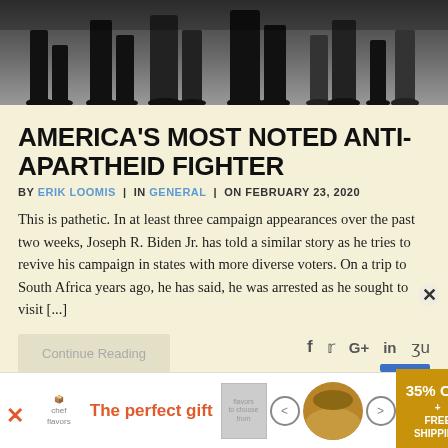[Figure (photo): Black and white photograph showing people walking, with legs and feet visible, likely a street scene.]
AMERICA'S MOST NOTED ANTI-APARTHEID FIGHTER
BY ERIK LOOMIS | IN GENERAL | ON FEBRUARY 23, 2020
This is pathetic. In at least three campaign appearances over the past two weeks, Joseph R. Biden Jr. has told a similar story as he tries to revive his campaign in states with more diverse voters. On a trip to South Africa years ago, he has said, he was arrested as he sought to visit [...]
Continue Reading